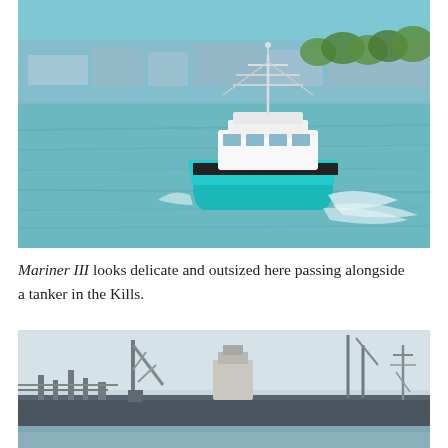[Figure (photo): A teal/cyan sport fishing boat named Mariner III cruising on open water with a city waterfront visible in the background. The boat is white and teal, with an outrigger tower, creating a wake as it passes on choppy greenish-blue water.]
Mariner III looks delicate and outsized here passing alongside a tanker in the Kills.
[Figure (photo): Industrial waterfront scene showing a large tanker ship alongside a dock with cranes, scaffolding, towers, and industrial equipment in a hazy sky environment — the Kills waterway area.]